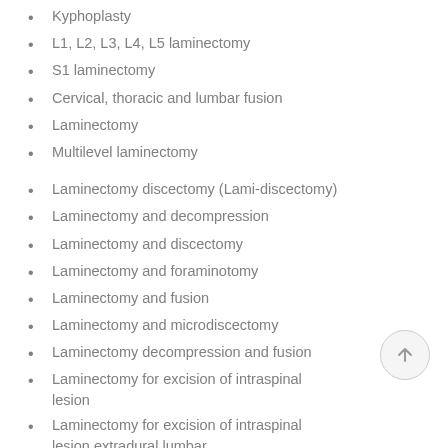Kyphoplasty
L1, L2, L3, L4, L5 laminectomy
S1 laminectomy
Cervical, thoracic and lumbar fusion
Laminectomy
Multilevel laminectomy
Laminectomy discectomy (Lami-discectomy)
Laminectomy and decompression
Laminectomy and discectomy
Laminectomy and foraminotomy
Laminectomy and fusion
Laminectomy and microdiscectomy
Laminectomy decompression and fusion
Laminectomy for excision of intraspinal lesion
Laminectomy for excision of intraspinal lesion extradural lumbar
Laminectomy for excision of intraspinal…